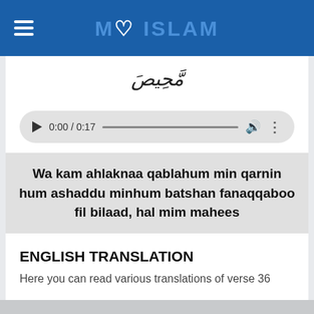MY ISLAM
Arabic text (bismillah-style calligraphy)
0:00 / 0:17 (audio player)
Wa kam ahlaknaa qablahum min qarnin hum ashaddu minhum batshan fanaqqaboo fil bilaad, hal mim mahees
ENGLISH TRANSLATION
Here you can read various translations of verse 36